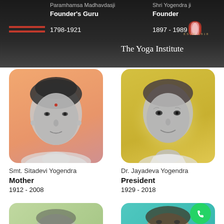Paramhamsa Madhavdasji
Founder's Guru
1798-1921
Shri Yogendra ji
Founder
1897 - 1989
The Yoga Institute
[Figure (photo): Portrait of Smt. Sitadevi Yogendra on orange background]
Smt. Sitadevi Yogendra
Mother
1912 - 2008
[Figure (photo): Portrait of Dr. Jayadeva Yogendra on golden-yellow background]
Dr. Jayadeva Yogendra
President
1929 - 2018
[Figure (photo): Partial view of a person on green background (bottom left)]
[Figure (photo): Partial view of a young man on teal background (bottom right) with WhatsApp icon overlay]